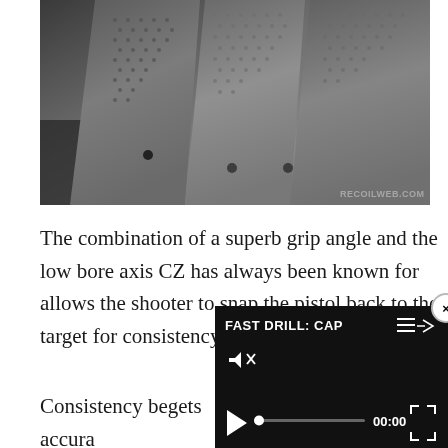[Figure (photo): Close-up photograph of firearm grips showing textured stippling patterns on dark grey polymer pistol grips side by side, with watermark 'RECOILWEB.COM' in lower right corner]
The combination of a superb grip angle and the low bore axis CZ has always been known for allows the shooter to snap the pistol back to the target for consistency's sa
[Figure (screenshot): Video player overlay with black background showing title 'FAST DRILL: CAP' with hamburger menu and share icons, muted speaker icon, play button, progress bar at start, timestamp '00:00', and fullscreen button. Close button (X) in upper right corner.]
Consistency begets accura